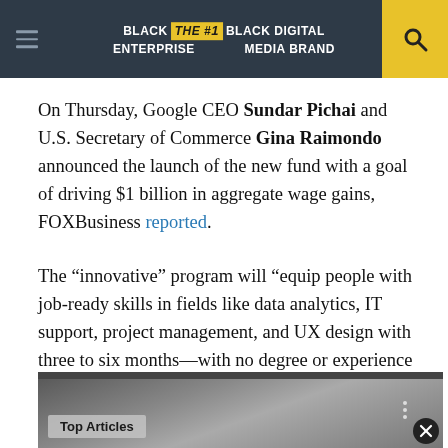BLACK ENTERPRISE THE #1 BLACK DIGITAL MEDIA BRAND
On Thursday, Google CEO Sundar Pichai and U.S. Secretary of Commerce Gina Raimondo announced the launch of the new fund with a goal of driving $1 billion in aggregate wage gains, FOXBusiness reported.
The “innovative” program will “equip people with job-ready skills in fields like data analytics, IT support, project management, and UX design with three to six months—with no degree or experience required,” Google said.
[Figure (photo): Screenshot of a video player showing a person, with a 'Top Articles' overlay badge and a close button]